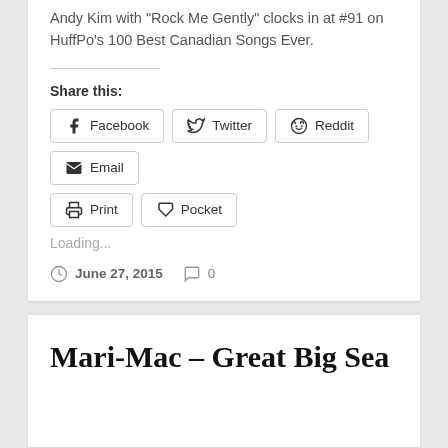Andy Kim with "Rock Me Gently" clocks in at #91 on HuffPo's 100 Best Canadian Songs Ever.
Share this:
Facebook  Twitter  Reddit  Email  Print  Pocket
Loading...
June 27, 2015   0
Mari-Mac – Great Big Sea